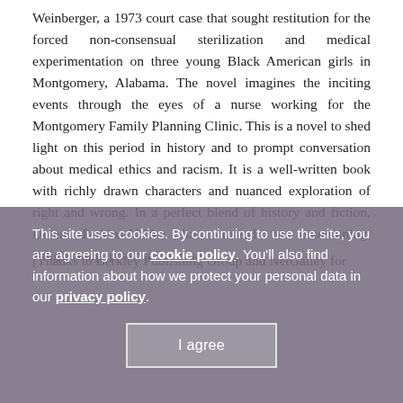Weinberger, a 1973 court case that sought restitution for the forced non-consensual sterilization and medical experimentation on three young Black American girls in Montgomery, Alabama. The novel imagines the inciting events through the eyes of a nurse working for the Montgomery Family Planning Clinic. This is a novel to shed light on this period in history and to prompt conversation about medical ethics and racism. It is a well-written book with richly drawn characters and nuanced exploration of right and wrong. In a perfect blend of history and fiction, Dolen Perkins-Valdez has created an entertaining, enlightening, provocative read.
[Thanks to Berkley Publishing Group and NetGalley for
This site uses cookies. By continuing to use the site, you are agreeing to our cookie policy. You'll also find information about how we protect your personal data in our privacy policy.